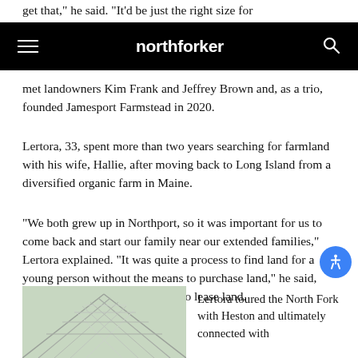get that," he said. "It'd be just the right size for
northforker
met landowners Kim Frank and Jeffrey Brown and, as a trio, founded Jamesport Farmstead in 2020.
Lertora, 33, spent more than two years searching for farmland with his wife, Hallie, after moving back to Long Island from a diversified organic farm in Maine.
“We both grew up in Northport, so it was important for us to come back and start our family near our extended families,” Lertora explained. “It was quite a process to find land for a young person without the means to purchase land,” he said, adding that it didn’t make sense to lease land.
[Figure (photo): Interior greenhouse or hoop house structure showing metal framework and translucent panels from below]
Lertora toured the North Fork with Heston and ultimately connected with